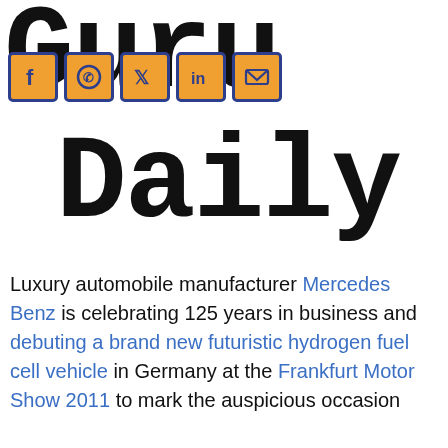[Figure (logo): Guru Daily logo in large bold typewriter font with social media icons (Facebook, WhatsApp, Twitter, LinkedIn, Email) overlaid on the top-left of the G]
Luxury automobile manufacturer Mercedes Benz is celebrating 125 years in business and debuting a brand new futuristic hydrogen fuel cell vehicle in Germany at the Frankfurt Motor Show 2011 to mark the auspicious occasion